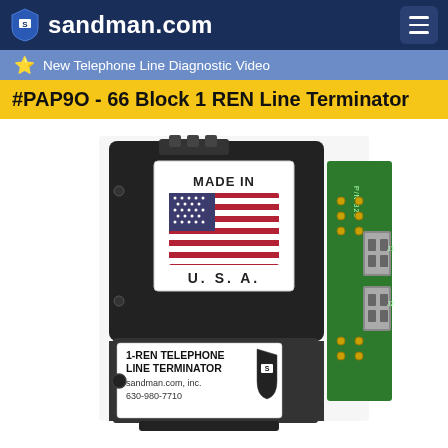sandman.com
New Telephone Line Diagnostic Video
#PAP9O - 66 Block 1 REN Line Terminator
[Figure (photo): Close-up photo of a black 1-REN Telephone Line Terminator device made by sandman.com, inc. The device has a white label showing 'MADE IN U.S.A.' with an American flag, and another label reading '1-REN TELEPHONE LINE TERMINATOR sandman.com, inc. 630-980-7710' with the Sandman shield logo. A green circuit board is visible on the right side with metal connectors.]